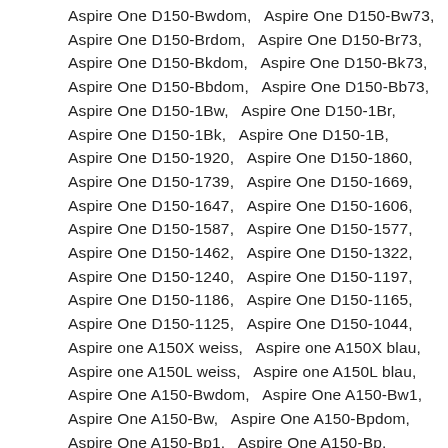Aspire One D150-Bwdom,   Aspire One D150-Bw73,   Aspire One D150-Brdom,   Aspire One D150-Br73,   Aspire One D150-Bkdom,   Aspire One D150-Bk73,   Aspire One D150-Bbdom,   Aspire One D150-Bb73,   Aspire One D150-1Bw,   Aspire One D150-1Br,   Aspire One D150-1Bk,   Aspire One D150-1B,   Aspire One D150-1920,   Aspire One D150-1860,   Aspire One D150-1739,   Aspire One D150-1669,   Aspire One D150-1647,   Aspire One D150-1606,   Aspire One D150-1587,   Aspire One D150-1577,   Aspire One D150-1462,   Aspire One D150-1322,   Aspire One D150-1240,   Aspire One D150-1197,   Aspire One D150-1186,   Aspire One D150-1165,   Aspire One D150-1125,   Aspire One D150-1044,   Aspire one A150X weiss,   Aspire one A150X blau,   Aspire one A150L weiss,   Aspire one A150L blau,   Aspire One A150-Bwdom,   Aspire One A150-Bw1,   Aspire One A150-Bw,   Aspire One A150-Bpdom,   Aspire One A150-Bp1,   Aspire One A150-Bp,   Aspire One A150-Bkdom,   Aspire One A150-Bk1,   Aspire One A150-Bk,   Aspire One A150-BGw,   Aspire One A150-BGp,   Aspire One A150-BGc,   Aspire One A150-BGb,   Aspire One A150-Bcdom,